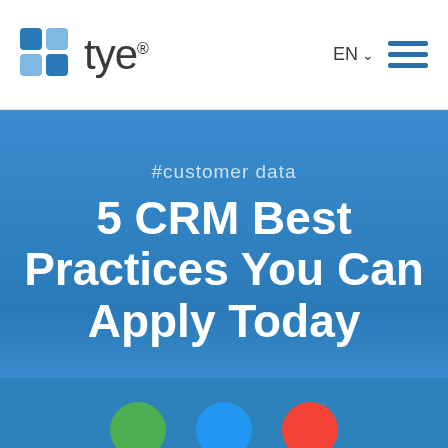tye® — EN  ☰
#customer data
5 CRM Best Practices You Can Apply Today
[Figure (illustration): Bottom partial section with three colored circle icons (green, blue, red) partially visible at the bottom of the page]